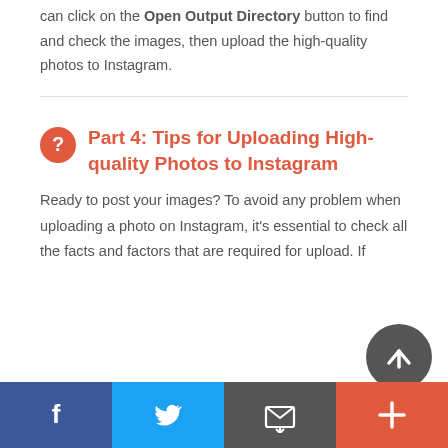Once the photo enhancement process is completed, you can click on the Open Output Directory button to find and check the images, then upload the high-quality photos to Instagram.
Part 4: Tips for Uploading High-quality Photos to Instagram
Ready to post your images? To avoid any problem when uploading a photo on Instagram, it's essential to check all the facts and factors that are required for upload. If